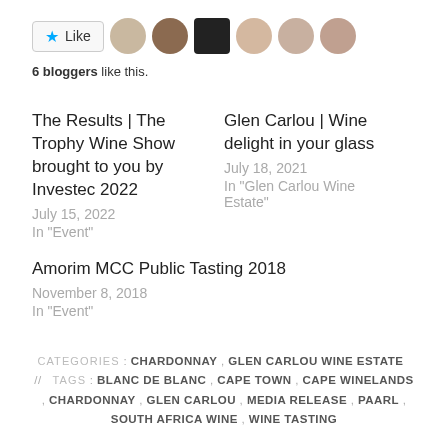[Figure (other): Like button with star icon and 6 blogger avatar thumbnails]
6 bloggers like this.
The Results | The Trophy Wine Show brought to you by Investec 2022
July 15, 2022
In "Event"
Glen Carlou | Wine delight in your glass
July 18, 2021
In "Glen Carlou Wine Estate"
Amorim MCC Public Tasting 2018
November 8, 2018
In "Event"
CATEGORIES: CHARDONNAY, GLEN CARLOU WINE ESTATE // TAGS: BLANC DE BLANC, CAPE TOWN, CAPE WINELANDS, CHARDONNAY, GLEN CARLOU, MEDIA RELEASE, PAARL, SOUTH AFRICA WINE, WINE TASTING